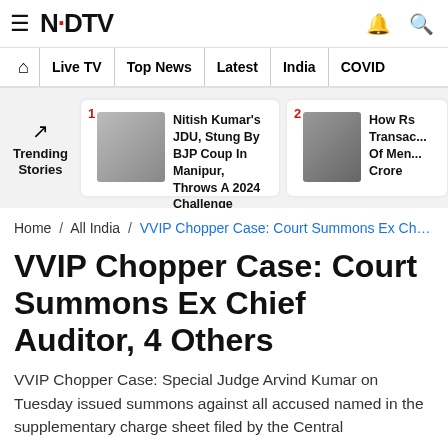NDTV
Home | Live TV | Top News | Latest | India | COVID
[Figure (screenshot): Trending Stories section with two news cards: 1. Nitish Kumar's JDU, Stung By BJP Coup In Manipur, Throws A 2024 Challenge. 2. How Rs Transac... Of Men... Crore]
Home / All India / VVIP Chopper Case: Court Summons Ex Ch...
VVIP Chopper Case: Court Summons Ex Chief Auditor, 4 Others
VVIP Chopper Case: Special Judge Arvind Kumar on Tuesday issued summons against all accused named in the supplementary charge sheet filed by the Central